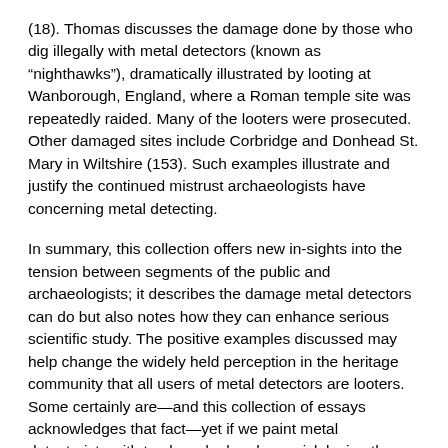(18). Thomas discusses the damage done by those who dig illegally with metal detectors (known as “nighthawks”), dramatically illustrated by looting at Wanborough, England, where a Roman temple site was repeatedly raided. Many of the looters were prosecuted. Other damaged sites include Corbridge and Donhead St. Mary in Wiltshire (153). Such examples illustrate and justify the continued mistrust archaeologists have concerning metal detecting.
In summary, this collection offers new in-sights into the tension between segments of the public and archaeologists; it describes the damage metal detectors can do but also notes how they can enhance serious scientific study. The positive examples discussed may help change the widely held perception in the heritage community that all users of metal detectors are looters. Some certainly are—and this collection of essays acknowledges that fact—yet if we paint metal detectorists with too broad a brush, we risk losing the assistance of skilled and dedicated volunteers who can offer a better understanding of sites and their contexts.
Derek Fincham